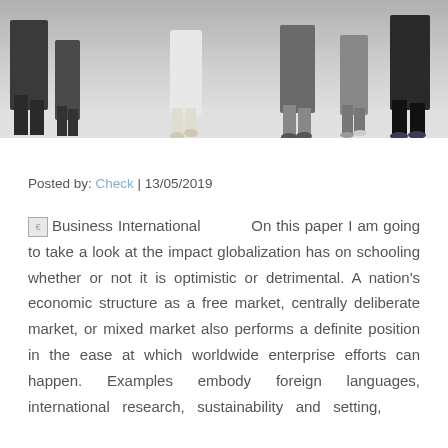[Figure (photo): Top portion of a photo showing people walking, only lower legs and feet visible against a light grey background]
Posted by: Check | 13/05/2019
Business International   On this paper I am going to take a look at the impact globalization has on schooling whether or not it is optimistic or detrimental. A nation's economic structure as a free market, centrally deliberate market, or mixed market also performs a definite position in the ease at which worldwide enterprise efforts can happen. Examples embody foreign languages, international research, sustainability and setting,